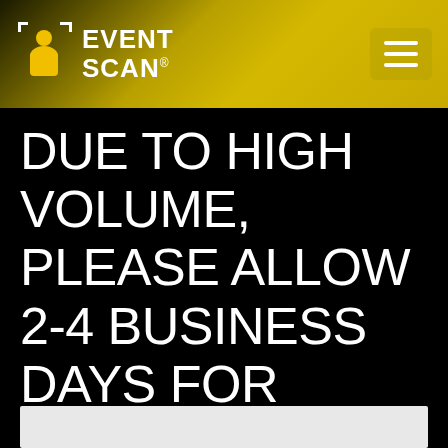EVENT SCAN
DUE TO HIGH VOLUME, PLEASE ALLOW 2-4 BUSINESS DAYS FOR RESPONSE.
FOR IMMEDIATE ASSISTANCE, PLEASE CALL 877-266-6935.
PLEASE NOTE: EVENTSCAN IS CURRENTLY UNABLE TO SERVICE WEDDINGS AT THIS TIME.